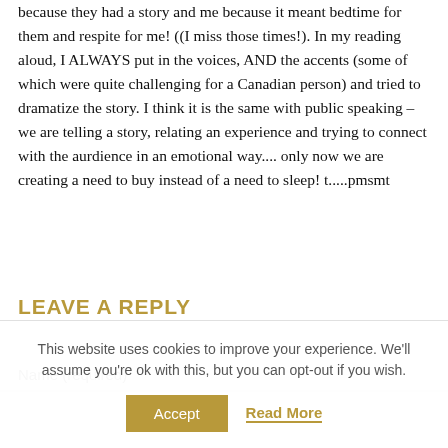because they had a story and me because it meant bedtime for them and respite for me! ((I miss those times!). In my reading aloud, I ALWAYS put in the voices, AND the accents (some of which were quite challenging for a Canadian person) and tried to dramatize the story. I think it is the same with public speaking – we are telling a story, relating an experience and trying to connect with the aurdience in an emotional way.... only now we are creating a need to buy instead of a need to sleep! t.....pmsmt
LEAVE A REPLY
Name (required)
This website uses cookies to improve your experience. We'll assume you're ok with this, but you can opt-out if you wish.